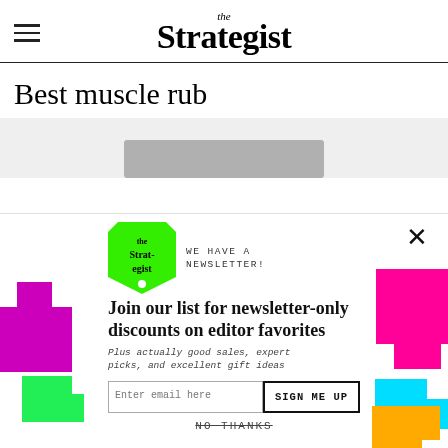the Strategist
Best muscle rub
[Figure (photo): Product image strip showing a muscle rub product on a light gray background]
[Figure (infographic): Newsletter signup modal with The Strategist green tag logo, colorful puzzle piece decorations, email input, and Sign Me Up button]
WE HAVE A NEWSLETTER!
Join our list for newsletter-only discounts on editor favorites
Plus actually good sales, expert picks, and excellent gift ideas
Enter email here
SIGN ME UP
NO THANKS